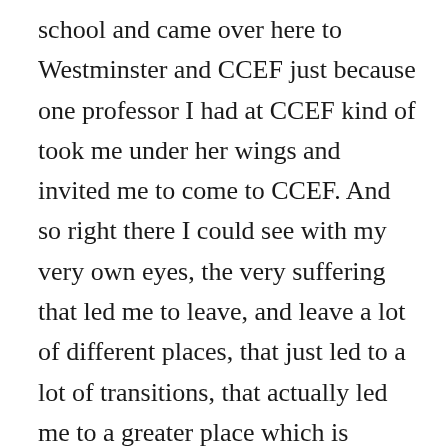school and came over here to Westminster and CCEF just because one professor I had at CCEF kind of took me under her wings and invited me to come to CCEF. And so right there I could see with my very own eyes, the very suffering that led me to leave, and leave a lot of different places, that just led to a lot of transitions, that actually led me to a greater place which is studying biblical counseling, to being at CCEF where my experiences here have been so redemptive, and actually so healing. And so I could confidently say what man meant, what he meant evil against me,